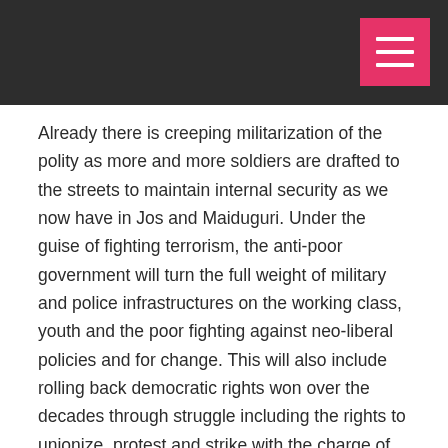Already there is creeping militarization of the polity as more and more soldiers are drafted to the streets to maintain internal security as we now have in Jos and Maiduguri. Under the guise of fighting terrorism, the anti-poor government will turn the full weight of military and police infrastructures on the working class, youth and the poor fighting against neo-liberal policies and for change. This will also include rolling back democratic rights won over the decades through struggle including the rights to unionize, protest and strike with the charge of "heating up the polity" or causing "civil disobedience".
This is why the response of the labour movement to this menace is of extreme importance. First and foremost, labour have to recognize that the Boko Haram menace,